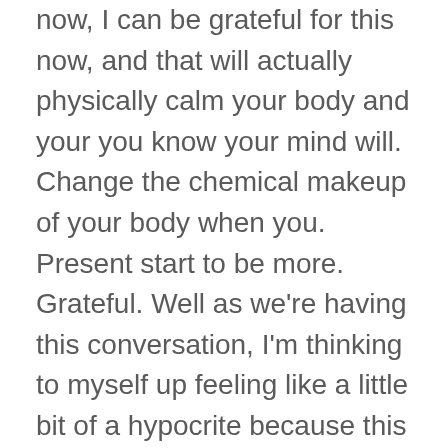now, I can be grateful for this now, and that will actually physically calm your body and your you know your mind will. Change the chemical makeup of your body when you. Present start to be more. Grateful. Well as we're having this conversation, I'm thinking to myself up feeling like a little bit of a hypocrite because this is something that I talked to my wife about all the time and I feel like I struggled with it myself. While we the not just the the not living in the past, but not living in the future and I think the biggest example that I can think. Think of is difficult conversations. You know you can have a difficult conversation and you run through that conversation ten times in your mind with different outcomes, each time, and how we go and mckernan deaths,